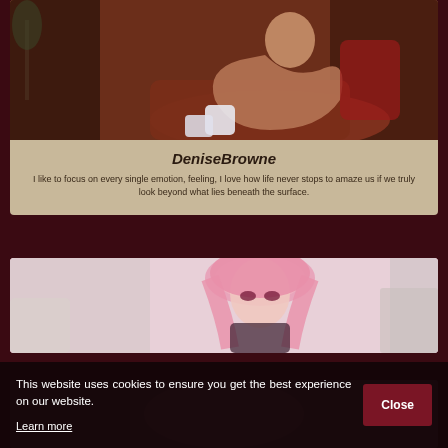[Figure (photo): Photo of a woman posing on a leather couch wearing white knee-high socks, in a room with warm red lighting]
DeniseBrowne
I like to focus on every single emotion, feeling, I love how life never stops to amaze us if we truly look beyond what lies beneath the surface.
[Figure (photo): Photo of a woman with pink hair and dramatic makeup, looking down]
[Figure (photo): Partial photo visible at bottom of page]
This website uses cookies to ensure you get the best experience on our website.
Learn more
Close